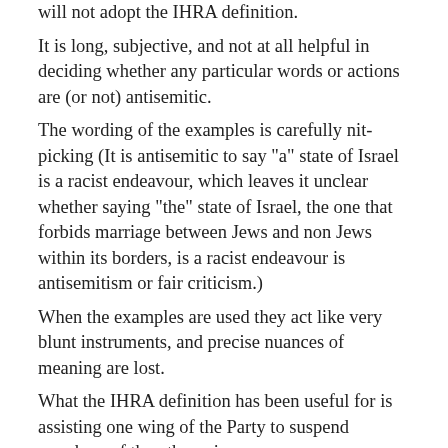will not adopt the IHRA definition. It is long, subjective, and not at all helpful in deciding whether any particular words or actions are (or not) antisemitic. The wording of the examples is carefully nit-picking (It is antisemitic to say "a" state of Israel is a racist endeavour, which leaves it unclear whether saying "the" state of Israel, the one that forbids marriage between Jews and non Jews within its borders, is a racist endeavour is antisemitism or fair criticism.) When the examples are used they act like very blunt instruments, and precise nuances of meaning are lost. What the IHRA definition has been useful for is assisting one wing of the Party to suspend members of the other wing. Suspensions on trumped up charges are very useful for gerrymandering internal elections - timed carefully, they can prevent potential candidates from standing, even if the accused is eventually exonerated by a full investigation. If the Coops, as a democratic party which believes in justice